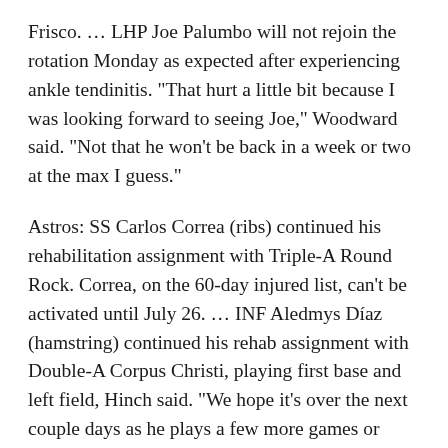Frisco. … LHP Joe Palumbo will not rejoin the rotation Monday as expected after experiencing ankle tendinitis. "That hurt a little bit because I was looking forward to seeing Joe," Woodward said. "Not that he won't be back in a week or two at the max I guess."
Astros: SS Carlos Correa (ribs) continued his rehabilitation assignment with Triple-A Round Rock. Correa, on the 60-day injured list, can't be activated until July 26. … INF Aledmys Díaz (hamstring) continued his rehab assignment with Double-A Corpus Christi, playing first base and left field, Hinch said. "We hope it's over the next couple days as he plays a few more games or even one game or see if he needs more. For him, it's more of a day-to-day assessment of where he is at and how he's doing," Hinch said.